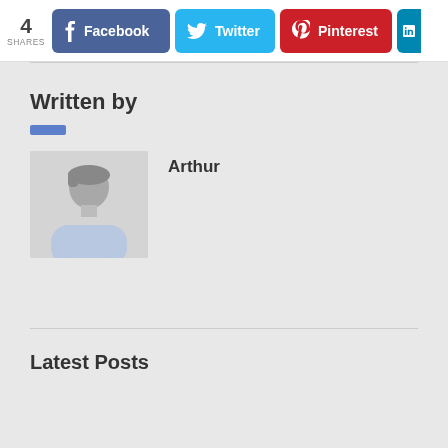4 SHARES
Facebook
Twitter
Pinterest
Written by
[Figure (illustration): Default male avatar silhouette placeholder image]
Arthur
Latest Posts